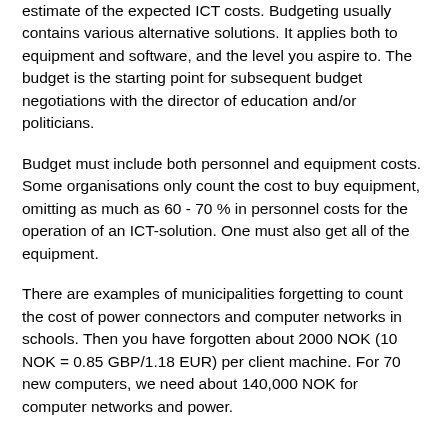estimate of the expected ICT costs. Budgeting usually contains various alternative solutions. It applies both to equipment and software, and the level you aspire to. The budget is the starting point for subsequent budget negotiations with the director of education and/or politicians.
Budget must include both personnel and equipment costs. Some organisations only count the cost to buy equipment, omitting as much as 60 - 70 % in personnel costs for the operation of an ICT-solution. One must also get all of the equipment.
There are examples of municipalities forgetting to count the cost of power connectors and computer networks in schools. Then you have forgotten about 2000 NOK (10 NOK = 0.85 GBP/1.18 EUR) per client machine. For 70 new computers, we need about 140,000 NOK for computer networks and power.